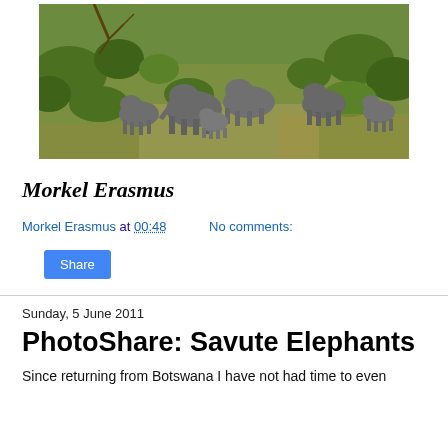[Figure (photo): Aerial view of a herd of elephants walking through African savanna bush with green vegetation]
Morkel Erasmus
Morkel Erasmus at 00:48   No comments:
Share
Sunday, 5 June 2011
PhotoShare: Savute Elephants
Since returning from Botswana I have not had time to even